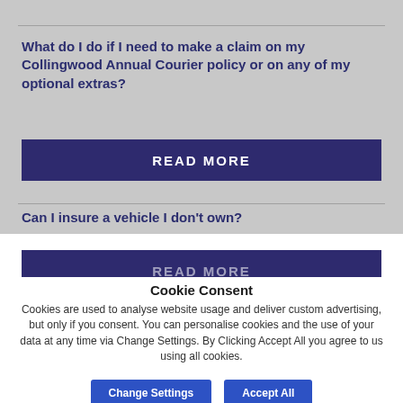What do I do if I need to make a claim on my Collingwood Annual Courier policy or on any of my optional extras?
READ MORE
Can I insure a vehicle I don't own?
READ MORE
Cookie Consent
Cookies are used to analyse website usage and deliver custom advertising, but only if you consent. You can personalise cookies and the use of your data at any time via Change Settings. By Clicking Accept All you agree to us using all cookies.
Change Settings
Accept All